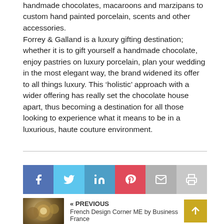handmade chocolates, macaroons and marzipans to custom hand painted porcelain, scents and other accessories.
Forrey & Galland is a luxury gifting destination; whether it is to gift yourself a handmade chocolate, enjoy pastries on luxury porcelain, plan your wedding in the most elegant way, the brand widened its offer to all things luxury. This ‘holistic’ approach with a wider offering has really set the chocolate house apart, thus becoming a destination for all those looking to experience what it means to be in a luxurious, haute couture environment.
[Figure (infographic): Social sharing buttons: Facebook, Twitter, LinkedIn, Pinterest, Email, Print]
[Figure (photo): Thumbnail image of decorative porcelain plates]
« PREVIOUS
French Design Corner ME by Business France